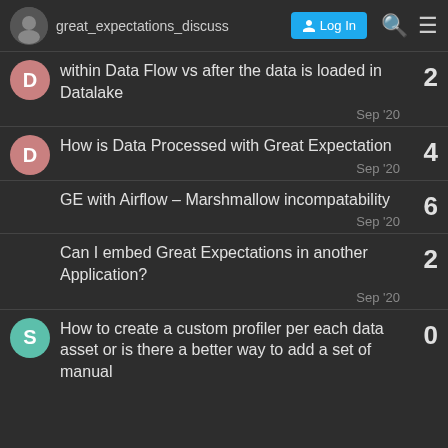great_expectations_discuss — Log In
within Data Flow vs after the data is loaded in Datalake — 2 replies — Sep '20
How is Data Processed with Great Expectation — 4 replies — Sep '20
GE with Airflow – Marshmallow incompatability — 6 replies — Sep '20
Can I embed Great Expectations in another Application? — 2 replies — Sep '20
How to create a custom profiler per each data asset or is there a better way to add a set of manual — 0 replies